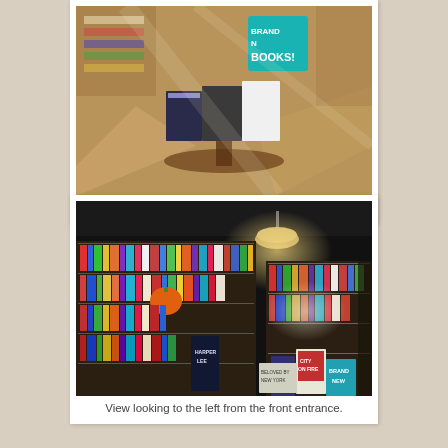[Figure (photo): A bookstore display table near the entrance showing stacked books including ones with 'BRAND NEW BOOKS!' signage, photographed in warm natural light on a wooden floor.]
An attractive display near the entrance.
[Figure (photo): Interior of a bookstore showing floor-to-ceiling shelves packed with colorful books, a hanging pendant lamp, orange pumpkin decoration, and featured books on stands in the foreground including 'City on Fire' and 'Brand New' titles. Dark ceiling with a single light source.]
View looking to the left from the front entrance.